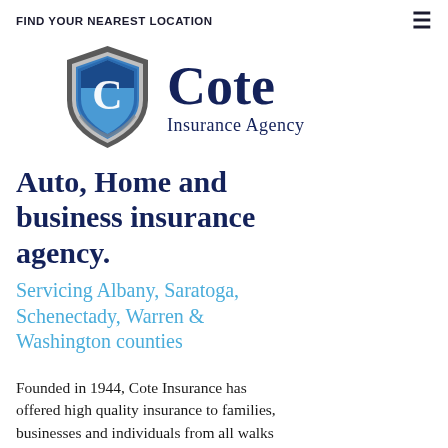FIND YOUR NEAREST LOCATION
[Figure (logo): Cote Insurance Agency logo: blue shield with white letter C on the left, and 'Cote Insurance Agency' text in dark navy on the right]
Auto, Home and business insurance agency.
Servicing Albany, Saratoga, Schenectady, Warren & Washington counties
Founded in 1944, Cote Insurance has offered high quality insurance to families, businesses and individuals from all walks